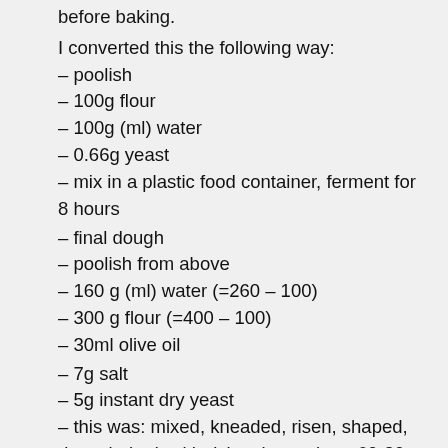before baking.
I converted this the following way:
– poolish
– 100g flour
– 100g (ml) water
– 0.66g yeast
– mix in a plastic food container, ferment for 8 hours
– final dough
– poolish from above
– 160 g (ml) water (=260 – 100)
– 300 g flour (=400 – 100)
– 30ml olive oil
– 7g salt
– 5g instant dry yeast
– this was: mixed, kneaded, risen, shaped, risen, baked, with rising times about 60-80 minutes at around 22-23C.